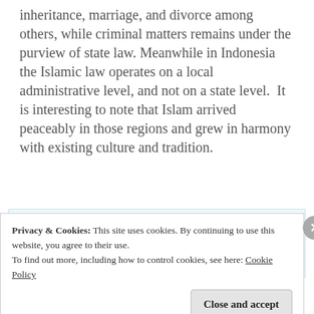inheritance, marriage, and divorce among others, while criminal matters remains under the purview of state law. Meanwhile in Indonesia the Islamic law operates on a local administrative level, and not on a state level. It is interesting to note that Islam arrived peaceably in those regions and grew in harmony with existing culture and tradition.
[Figure (other): Advertisement banner showing a podcast app logo with geometric shapes and text 'podcast lovers.' alongside Pocket Casts logo and name.]
Privacy & Cookies: This site uses cookies. By continuing to use this website, you agree to their use.
To find out more, including how to control cookies, see here: Cookie Policy
Close and accept